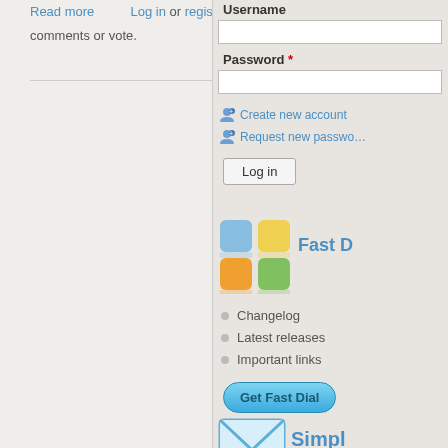Read more comments or vote. Log in or register to post 0 0 votes
[Figure (illustration): Decorative ornamental divider with swirl patterns]
[Figure (illustration): RSS feed orange icon]
Username
[Figure (screenshot): Username text input field]
Password *
[Figure (screenshot): Password text input field]
Create new account
Request new password
Log in
[Figure (illustration): Fast Dial 2x2 colored squares logo with blue, yellow, orange, green tiles]
Fast D
Changelog
Latest releases
Important links
Get Fast Dial
[Figure (illustration): Email envelope icon]
Simpl